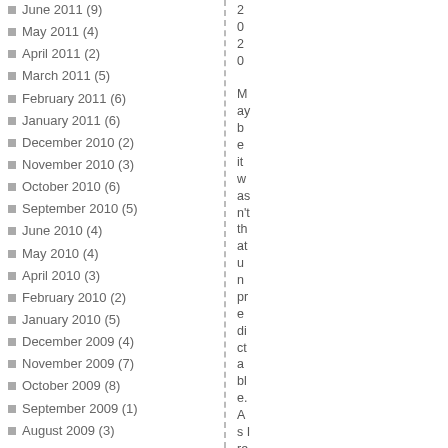June 2011 (9)
May 2011 (4)
April 2011 (2)
March 2011 (5)
February 2011 (6)
January 2011 (6)
December 2010 (2)
November 2010 (3)
October 2010 (6)
September 2010 (5)
June 2010 (4)
May 2010 (4)
April 2010 (3)
February 2010 (2)
January 2010 (5)
December 2009 (4)
November 2009 (7)
October 2009 (8)
September 2009 (1)
August 2009 (3)
July 2009 (3)
June 2009 (2)
May 2009 (3)
April 2009 (1)
March 2009 (6)
February 2009 (6)
2020 Maybe it wasn't that unpredictable. As I repor te